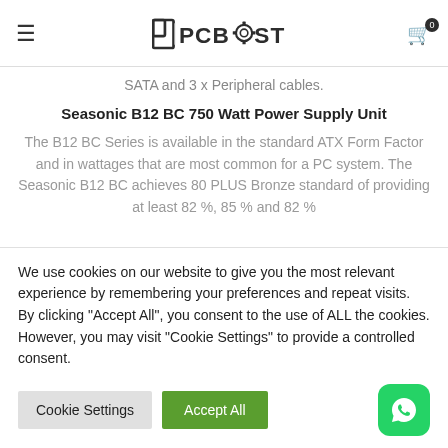PCBOOST
SATA and 3 x Peripheral cables.
Seasonic B12 BC 750 Watt Power Supply Unit
The B12 BC Series is available in the standard ATX Form Factor and in wattages that are most common for a PC system. The Seasonic B12 BC achieves 80 PLUS Bronze standard of providing at least 82 %, 85 % and 82 %
We use cookies on our website to give you the most relevant experience by remembering your preferences and repeat visits. By clicking "Accept All", you consent to the use of ALL the cookies. However, you may visit "Cookie Settings" to provide a controlled consent.